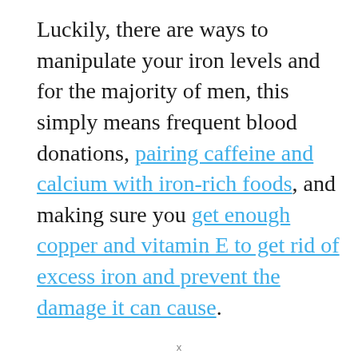Luckily, there are ways to manipulate your iron levels and for the majority of men, this simply means frequent blood donations, pairing caffeine and calcium with iron-rich foods, and making sure you get enough copper and vitamin E to get rid of excess iron and prevent the damage it can cause.
x